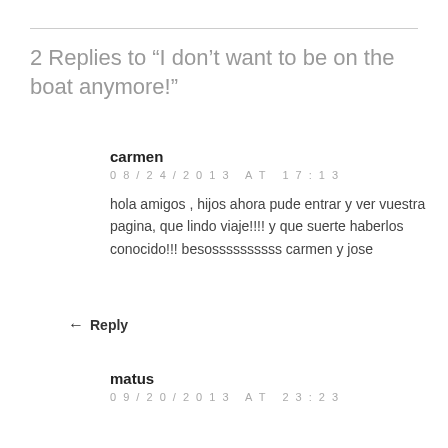2 Replies to “I don’t want to be on the boat anymore!”
carmen
08/24/2013 AT 17:13
hola amigos , hijos ahora pude entrar y ver vuestra pagina, que lindo viaje!!!! y que suerte haberlos conocido!!! besossssssssss carmen y jose
← Reply
matus
09/20/2013 AT 23:23